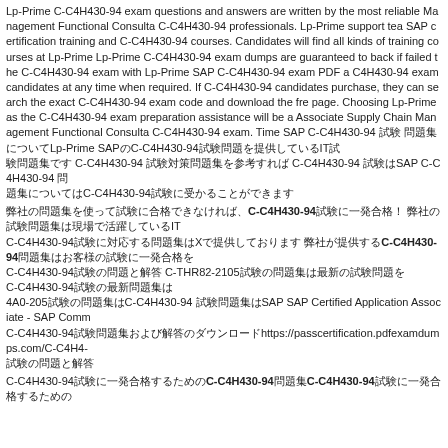Lp-Prime C-C4H430-94 exam questions and answers are written by the most reliable Management Functional Consulta C-C4H430-94 professionals. Lp-Prime support tea SAP certification training and C-C4H430-94 courses. Candidates will find all kinds of training courses at Lp-Prime Lp-Prime C-C4H430-94 exam dumps are guaranteed to back if failed the C-C4H430-94 exam with Lp-Prime SAP C-C4H430-94 exam PDF a C4H430-94 exam candidates at any time when required. If C-C4H430-94 candidates purchase, they can search the exact C-C4H430-94 exam code and download the fre page. Choosing Lp-Prime as the C-C4H430-94 exam preparation assistance will be a Associate Supply Chain Management Functional Consulta C-C4H430-94 exam. Time SAP C-C4H430-94 試験 問題集についてLp-Prime SAPのC-C4H430-94試験問題を提供しているIT試 験問題集です C-C4H430-94 試験対策問題集を参考すれば C-C4H430-94 試験はSAP C-C4H430-94 問 題集についてはC-C4H430-94試験に受かることができます
弊社の問題集を使って試験に合格できなければ、C-C4H430-94試験に一発合格！ 弊社の試験問題集は現場で活躍しているIT C-C4H430-94試験に対応する問題集はXで提供しております 弊社が提供するC-C4H430-94問題集はお客様の試験に一発合格を C-C4H430-94試験の問題と解答 C-THR82-2105試験の問題集は最新の試験問題を C-C4H430-94試験の最新問題集は 4A0-205試験の問題集はC-C4H430-94 試験問題集はSAP SAP Certified Application Associate - SAP Comm C-C4H430-94試験問題集および解答のダウンロードhttps://passcertification.pdfexamdumps.com/C-C4H4- 試験の問題と解答
C-C4H430-94試験に一発合格するためのC-C4H430-94問題集C-C4H430-94試験に一発合格するための